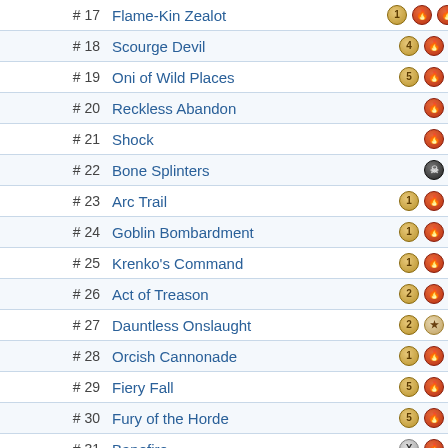| # | Name | Cost |
| --- | --- | --- |
| # 17 | Flame-Kin Zealot | 1RR |
| # 18 | Scourge Devil | 4R |
| # 19 | Oni of Wild Places | 5R |
| # 20 | Reckless Abandon | R |
| # 21 | Shock | R |
| # 22 | Bone Splinters | B |
| # 23 | Arc Trail | 1R |
| # 24 | Goblin Bombardment | 1R |
| # 25 | Krenko's Command | 1R |
| # 26 | Act of Treason | 2R |
| # 27 | Dauntless Onslaught | 2W |
| # 28 | Orcish Cannonade | 1R |
| # 29 | Fiery Fall | 5R |
| # 30 | Fury of the Horde | 5RR |
| # 31 | Banefire | XR |